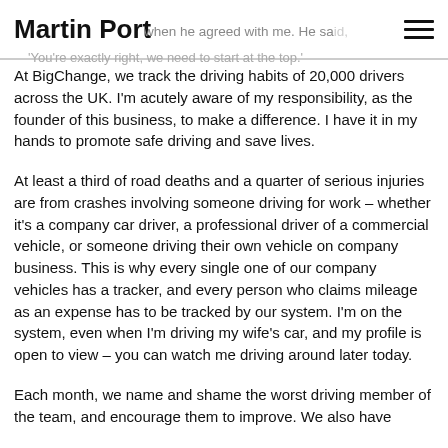Martin Port | when he agreed with me. He said, 'You're exactly right, we need to start at the top.'
At BigChange, we track the driving habits of 20,000 drivers across the UK. I'm acutely aware of my responsibility, as the founder of this business, to make a difference. I have it in my hands to promote safe driving and save lives.
At least a third of road deaths and a quarter of serious injuries are from crashes involving someone driving for work – whether it's a company car driver, a professional driver of a commercial vehicle, or someone driving their own vehicle on company business. This is why every single one of our company vehicles has a tracker, and every person who claims mileage as an expense has to be tracked by our system. I'm on the system, even when I'm driving my wife's car, and my profile is open to view – you can watch me driving around later today.
Each month, we name and shame the worst driving member of the team, and encourage them to improve. We also have